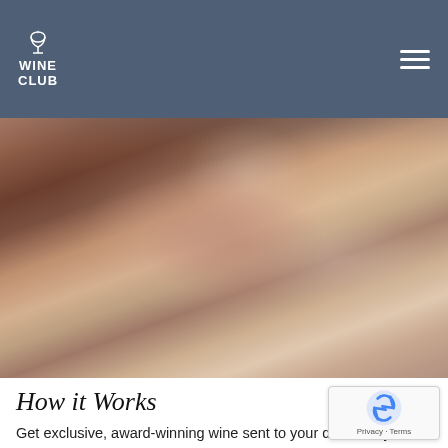WINE CLUB
[Figure (photo): A woman tilting and examining a glass of red/rosé wine, blurred restaurant or dining scene in background]
How it Works
Get exclusive, award-winning wine sent to your door every month with the Canadian Wine Of The Month Club